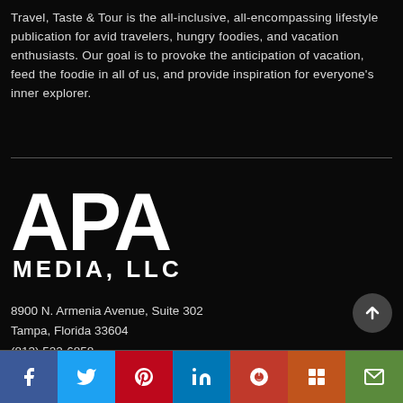Travel, Taste & Tour is the all-inclusive, all-encompassing lifestyle publication for avid travelers, hungry foodies, and vacation enthusiasts. Our goal is to provoke the anticipation of vacation, feed the foodie in all of us, and provide inspiration for everyone's inner explorer.
[Figure (logo): APA Media, LLC logo in white text on black background. Large 'APA' lettering above smaller 'MEDIA, LLC' text.]
8900 N. Armenia Avenue, Suite 302
Tampa, Florida 33604
(813) 522-6858
info@traveltasteandtour.com
[Figure (infographic): Social media sharing bar with 7 colored buttons: Facebook (blue), Twitter (light blue), Pinterest (red), LinkedIn (blue), Reddit (dark red), Mix (orange), Email (green). Each button shows the respective social media icon in white.]